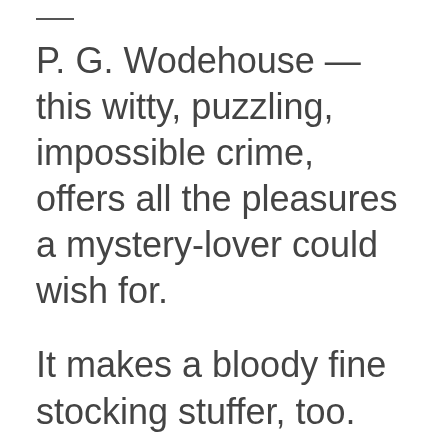P. G. Wodehouse — this witty, puzzling, impossible crime, offers all the pleasures a mystery-lover could wish for.
It makes a bloody fine stocking stuffer, too.